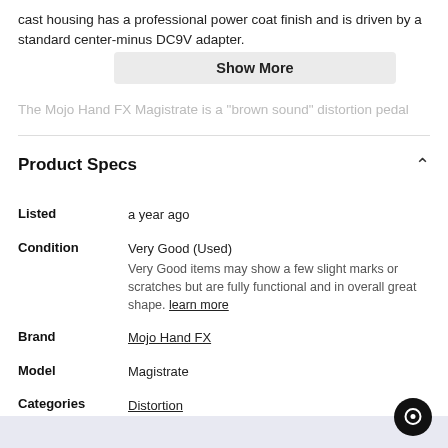cast housing has a professional power coat finish and is driven by a standard center-minus DC9V adapter.
Show More
The Mojo Hand FX Magistrate is a "brown sound" distortion pedal
Product Specs
| Field | Value |
| --- | --- |
| Listed | a year ago |
| Condition | Very Good (Used)
Very Good items may show a few slight marks or scratches but are fully functional and in overall great shape. learn more |
| Brand | Mojo Hand FX |
| Model | Magistrate |
| Categories | Distortion
Overdrive and Boost |